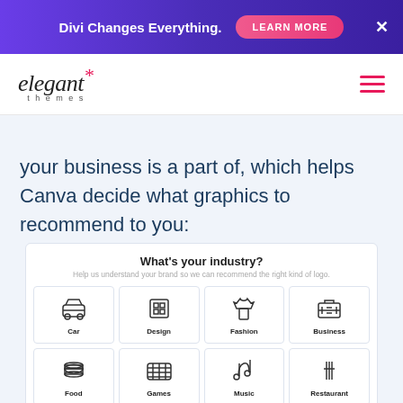[Figure (screenshot): Divi banner ad with gradient purple background, 'Divi Changes Everything.' text, pink 'LEARN MORE' button, and X close button]
[Figure (logo): Elegant Themes logo with italic serif font and pink asterisk star]
your business is a part of, which helps Canva decide what graphics to recommend to you:
What's your industry?
Help us understand your brand so we can recommend the right kind of logo.
[Figure (infographic): Industry selection grid with 8 cards: Car, Design, Fashion, Business (row 1); Food, Games, Music, Restaurant (row 2) each with icon and label]